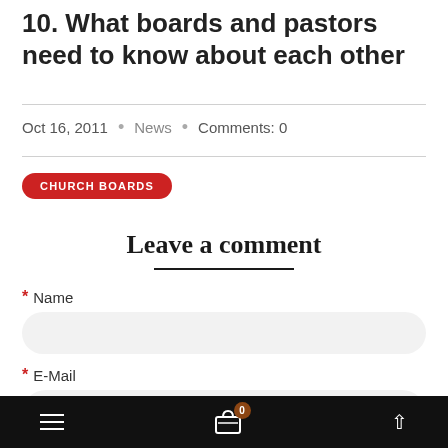10. What boards and pastors need to know about each other
Oct 16, 2011  •  News  •  Comments: 0
CHURCH BOARDS
Leave a comment
* Name
* E-Mail